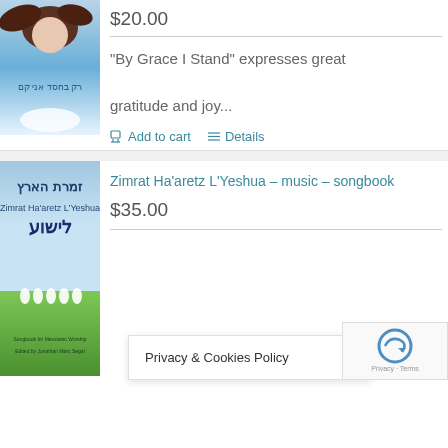$20.00
"By Grace I Stand" expresses great gratitude and joy...
Add to cart   Details
Zimrat Ha’aretz L’Yeshua – music – songbook
$35.00
Privacy & Cookies Policy